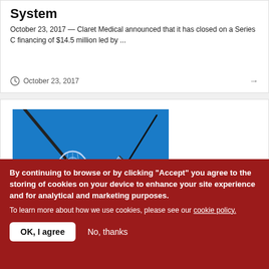System
October 23, 2017 — Claret Medical announced that it has closed on a Series C financing of $14.5 million led by ...
October 23, 2017
[Figure (photo): Medical device photo showing two claret medical devices (stent-like or filter devices) on a blue background]
By continuing to browse or by clicking "Accept" you agree to the storing of cookies on your device to enhance your site experience and for analytical and marketing purposes.
To learn more about how we use cookies, please see our cookie policy.
OK, I agree
No, thanks